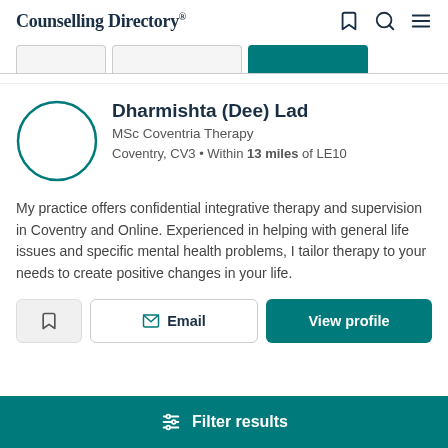Counselling Directory*
[Figure (screenshot): Tab strip with three tabs, the rightmost (active) tab is teal/green]
[Figure (illustration): Circular avatar placeholder with teal border]
Dharmishta (Dee) Lad
MSc Coventria Therapy
Coventry, CV3 • Within 13 miles of LE10
My practice offers confidential integrative therapy and supervision in Coventry and Online. Experienced in helping with general life issues and specific mental health problems, I tailor therapy to your needs to create positive changes in your life.
[Figure (screenshot): Three action buttons: bookmark/save icon button, Email button, View profile button (teal)]
Filter results